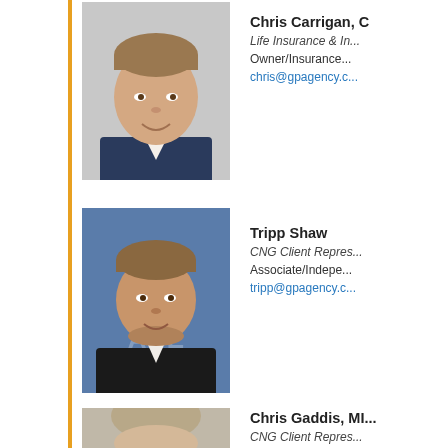[Figure (photo): Headshot of Chris Carrigan, middle-aged man in dark blazer with white shirt, smiling]
Chris Carrigan, C...
Life Insurance & In...
Owner/Insurance...
chris@gpagency.c...
[Figure (photo): Headshot of Tripp Shaw, young man in black suit with white shirt, smiling, blue logo background]
Tripp Shaw
CNG Client Repres...
Associate/Indepe...
tripp@gpagency.c...
[Figure (photo): Headshot of Chris Gaddis, young man with light hair, partial view]
Chris Gaddis, MI...
CNG Client Repres...